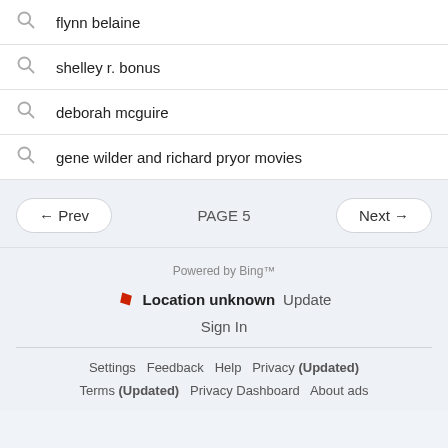flynn belaine
shelley r. bonus
deborah mcguire
gene wilder and richard pryor movies
← Prev   PAGE 5   Next →
Powered by Bing™
Location unknown  Update
Sign In
Settings  Feedback  Help  Privacy (Updated)  Terms (Updated)  Privacy Dashboard  About ads